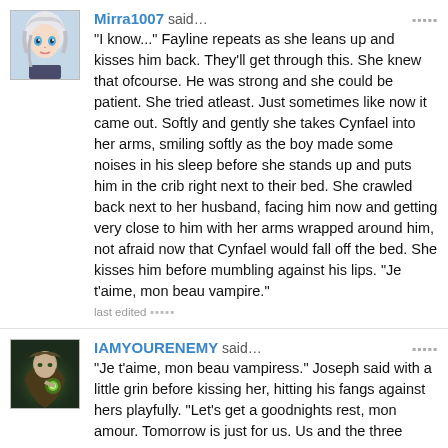[Figure (illustration): Avatar image of Mirra1007 — anime-style female character with silver/white hair]
Mirra1007 said… "I know..." Fayline repeats as she leans up and kisses him back. They'll get through this. She knew that ofcourse. He was strong and she could be patient. She tried atleast. Just sometimes like now it came out. Softly and gently she takes Cynfael into her arms, smiling softly as the boy made some noises in his sleep before she stands up and puts him in the crib right next to their bed. She crawled back next to her husband, facing him now and getting very close to him with her arms wrapped around him, not afraid now that Cynfael would fall off the bed. She kisses him before mumbling against his lips. "Je t'aime, mon beau vampire." last edited ▪▪▪▪
[Figure (illustration): Avatar image of IAMYOURENEMY — fantasy/warrior character with glowing effects]
IAMYOURENEMY said… "Je t'aime, mon beau vampiress." Joseph said with a little grin before kissing her, hitting his fangs against hers playfully. "Let's get a goodnights rest, mon amour. Tomorrow is just for us. Us and the three